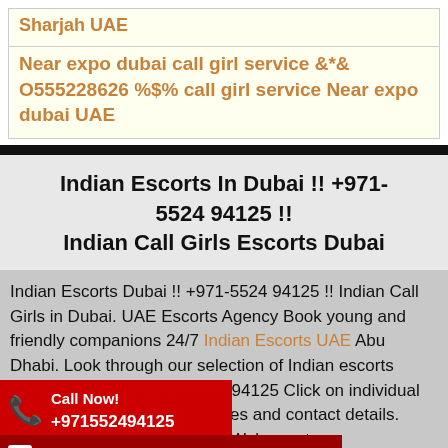Sharjah UAE
Near expo dubai call girl service &*& O555228626 %$% call girl service Near expo dubai UAE
Indian Escorts In Dubai !! +971-5524 94125 !! Indian Call Girls Escorts Dubai
Indian Escorts Dubai !! +971-5524 94125 !! Indian Call Girls in Dubai. UAE Escorts Agency Book young and friendly companions 24/7 Indian Escorts UAE Abu Dhabi. Look through our selection of Indian escorts working in Dubai. +971-5524 94125 Click on individual profiles and contact details. Welcome to our directory. Here you will find a vast catalog of alluring Indian escorts working in Abu Dhabi, UAE. Sexy cuties are looking for hot … +971-5524 94125 adult time with escort companions website, you to
[Figure (infographic): Red 'Call Now!' badge with phone icon and number +971552494125]
[Figure (infographic): Dark red 'WhatsApp us +971552494125' badge at the bottom]